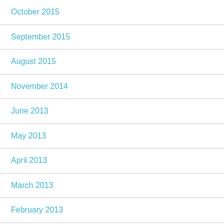October 2015
September 2015
August 2015
November 2014
June 2013
May 2013
April 2013
March 2013
February 2013
August 2012